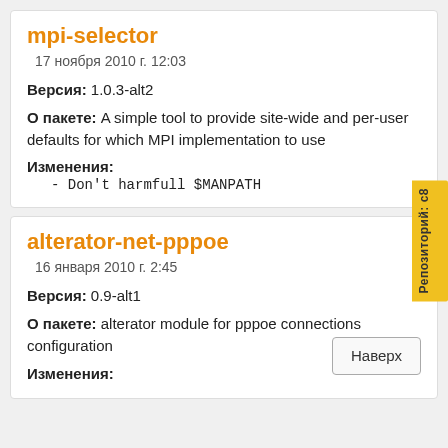mpi-selector
17 ноября 2010 г. 12:03
Версия: 1.0.3-alt2
О пакете: A simple tool to provide site-wide and per-user defaults for which MPI implementation to use
Изменения:
- Don't harmfull $MANPATH
alterator-net-pppoe
16 января 2010 г. 2:45
Версия: 0.9-alt1
О пакете: alterator module for pppoe connections configuration
Изменения:
Репозиторий: c8